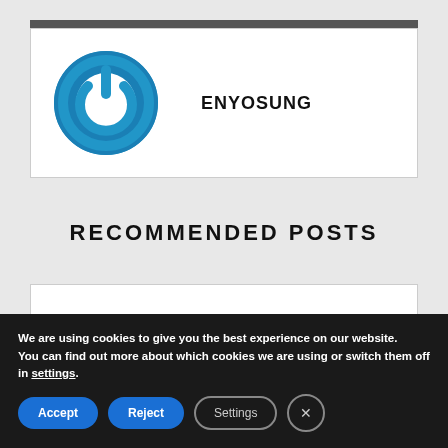[Figure (logo): Enyosung logo: blue circular power button icon with white power symbol]
ENYOSUNG
RECOMMENDED POSTS
We are using cookies to give you the best experience on our website.
You can find out more about which cookies we are using or switch them off in settings.